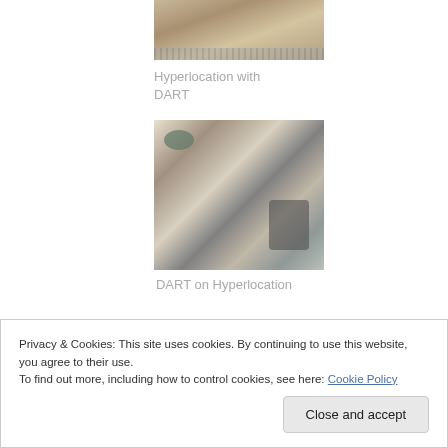[Figure (photo): Close-up photo of hardware device (Hyperlocation access point) from above, partially cropped at top]
Hyperlocation with DART
[Figure (photo): Photo of DART device placed on top of a Hyperlocation access point, showing white plastic hardware components]
DART on Hyperlocation
Privacy & Cookies: This site uses cookies. By continuing to use this website, you agree to their use.
To find out more, including how to control cookies, see here: Cookie Policy
Close and accept